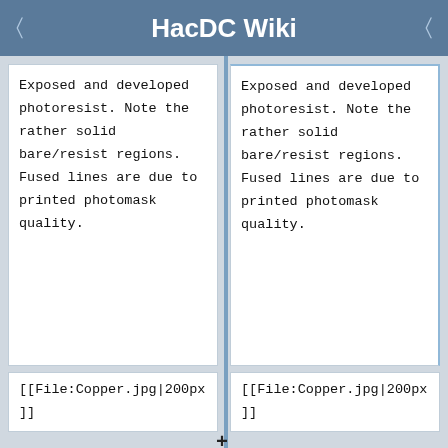HacDC Wiki
Exposed and developed photoresist. Note the rather solid bare/resist regions. Fused lines are due to printed photomask quality.
Exposed and developed photoresist. Note the rather solid bare/resist regions. Fused lines are due to printed photomask quality.
[[File:Copper.jpg|200px]]
[[File:Copper.jpg|200px]]
Chemically etched copper. Note the high-quality edges on the large pads. Uneven and lost traces are due to manual cleanup attempt.
Chemically etched copper. Note the high-quality edges on the large pads. Uneven and lost traces are due to manual cleanup attempt.